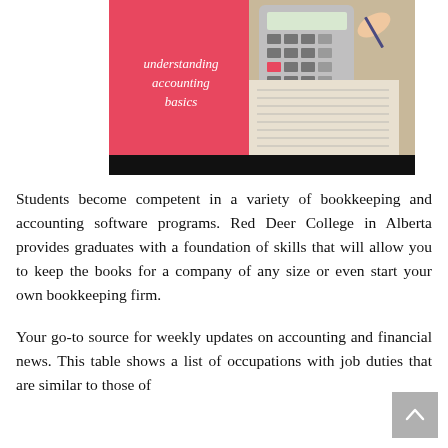[Figure (illustration): Book cover image showing 'understanding accounting basics' text on a pink/red background on the left side, and a photo of a hand writing with a pen next to a calculator on financial documents on the right side. Below the image is a black banner strip.]
Students become competent in a variety of bookkeeping and accounting software programs. Red Deer College in Alberta provides graduates with a foundation of skills that will allow you to keep the books for a company of any size or even start your own bookkeeping firm.
Your go-to source for weekly updates on accounting and financial news. This table shows a list of occupations with job duties that are similar to those of bookkeepers, accountants, auditors, and...